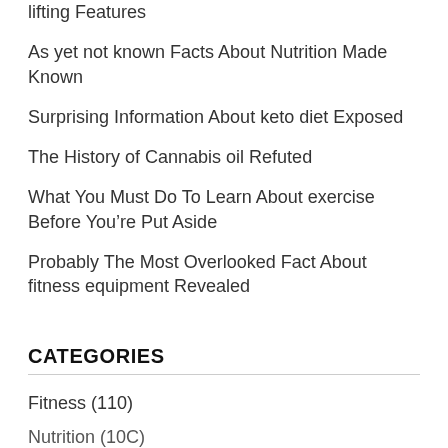lifting Features
As yet not known Facts About Nutrition Made Known
Surprising Information About keto diet Exposed
The History of Cannabis oil Refuted
What You Must Do To Learn About exercise Before You’re Put Aside
Probably The Most Overlooked Fact About fitness equipment Revealed
CATEGORIES
Fitness (110)
Nutrition (10C)